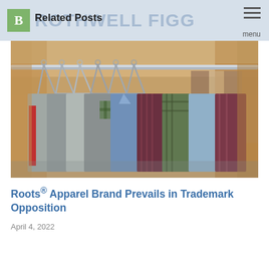ROTHWELL FIGG
Related Posts
[Figure (photo): Close-up photo of colorful dress shirts hanging on metal hangers on a clothing rack. Shirts include plaid, solid blue, maroon, and various other patterns and colors.]
Roots® Apparel Brand Prevails in Trademark Opposition
April 4, 2022